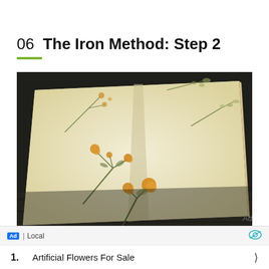06  The Iron Method: Step 2
[Figure (photo): An open book/journal with pressed dried flowers and botanical specimens arranged across cream-colored pages, photographed on a dark wooden surface.]
Ad
Ad | Local
1.  Artificial Flowers For Sale